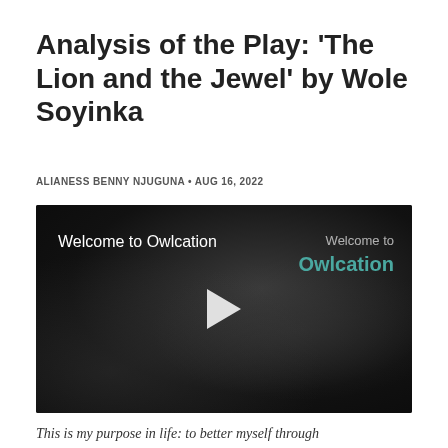Analysis of the Play: 'The Lion and the Jewel' by Wole Soyinka
ALIANESS BENNY NJUGUNA • AUG 16, 2022
[Figure (screenshot): Video player thumbnail with dark textured background. Left text reads 'Welcome to Owlcation'. Right side shows 'Welcome to' in light gray and 'Owlcation' in teal/green. A white play button triangle is centered in the frame.]
This is my purpose in life: to better myself through